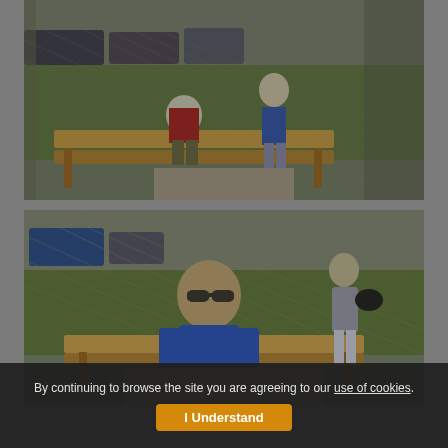[Figure (photo): Outdoor baseball/softball dugout area with chain-link fence. A youth in a red shirt sits on a wooden bench, another person in blue stands nearby. Green grass field and parked cars visible in background.]
[Figure (photo): Another outdoor dugout scene. A smiling young man in a blue shirt with sunglasses sits on a wooden bench in foreground. An adult man in a gray shirt stands in background near the chain-link fence, holding a batting helmet.]
By continuing to browse the site you are agreeing to our use of cookies.
I Understand